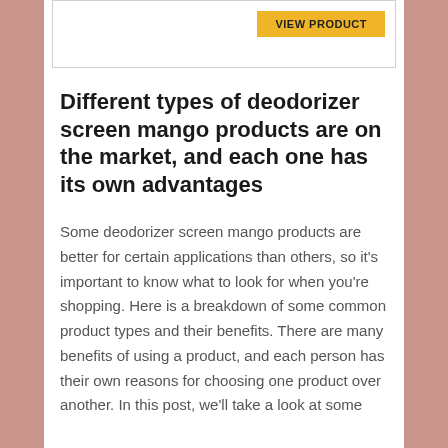[Figure (other): Top portion of a white content card with a yellow button (partially visible) in the upper right corner]
Different types of deodorizer screen mango products are on the market, and each one has its own advantages
Some deodorizer screen mango products are better for certain applications than others, so it's important to know what to look for when you're shopping. Here is a breakdown of some common product types and their benefits. There are many benefits of using a product, and each person has their own reasons for choosing one product over another. In this post, we'll take a look at some